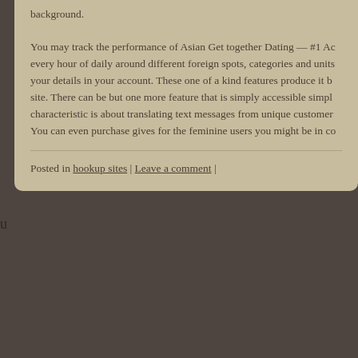background.
You may track the performance of Asian Get together Dating — #1 Ac every hour of daily around different foreign spots, categories and units your details in your account. These one of a kind features produce it b site. There can be but one more feature that is simply accessible simpl characteristic is about translating text messages from unique customer You can even purchase gives for the feminine users you might be in co
Posted in hookup sites | Leave a comment |